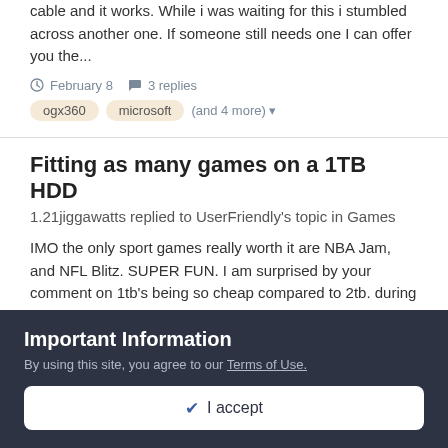cable and it works. While i was waiting for this i stumbled across another one. If someone still needs one I can offer you the...
February 8   3 replies
ogx360
microsoft
(and 4 more)
Fitting as many games on a 1TB HDD
1.21jiggawatts replied to UserFriendly's topic in Games
IMO the only sport games really worth it are NBA Jam, and NFL Blitz. SUPER FUN. I am surprised by your comment on 1tb's being so cheap compared to 2tb. during black Friday i picked up WD...
February 8   48 replies
fitting
many
(and 3 more)
Important Information
By using this site, you agree to our Terms of Use.
✔ I accept